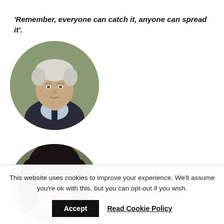‘Remember, everyone can catch it, anyone can spread it’.
[Figure (photo): Circular headshot photo of an older man with white/grey hair wearing a dark suit and tie, with a green blurred background.]
[Figure (photo): Circular headshot photo of a woman with dark hair, partially cropped at the bottom of the page.]
This website uses cookies to improve your experience. We'll assume you're ok with this, but you can opt-out if you wish.
Accept
Read Cookie Policy